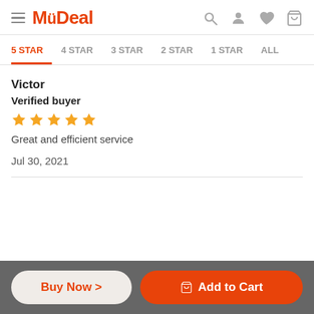MyDeal
5 STAR  4 STAR  3 STAR  2 STAR  1 STAR  ALL
Victor
Verified buyer
[Figure (other): 5 gold star rating]
Great and efficient service
Jul 30, 2021
Buy Now >   Add to Cart